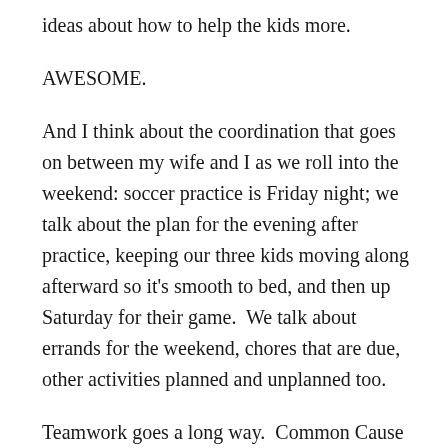ideas about how to help the kids more.
AWESOME.
And I think about the coordination that goes on between my wife and I as we roll into the weekend: soccer practice is Friday night; we talk about the plan for the evening after practice, keeping our three kids moving along afterward so it’s smooth to bed, and then up Saturday for their game.  We talk about errands for the weekend, chores that are due, other activities planned and unplanned too.
Teamwork goes a long way.  Common Cause helps too.  Stay aligned with those that matter most.